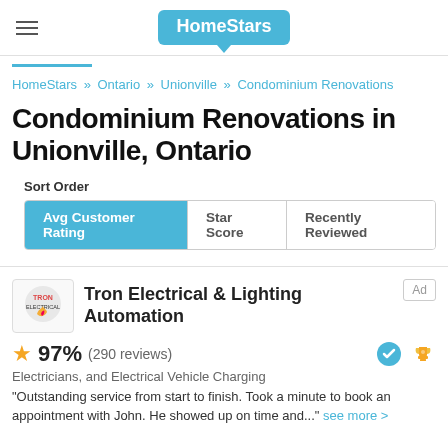HomeStars
HomeStars » Ontario » Unionville » Condominium Renovations
Condominium Renovations in Unionville, Ontario
Sort Order: Avg Customer Rating | Star Score | Recently Reviewed
Tron Electrical & Lighting Automation — Ad
97% (290 reviews)
Electricians, and Electrical Vehicle Charging
"Outstanding service from start to finish. Took a minute to book an appointment with John. He showed up on time and..." see more >